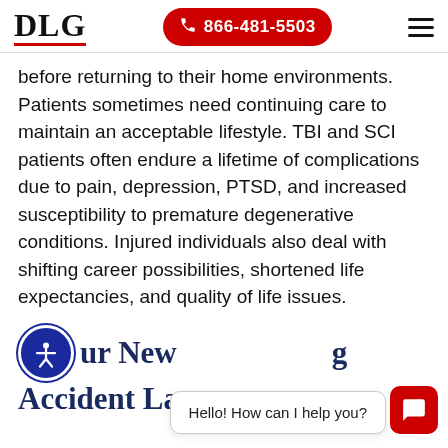DLG | 866-481-5503
before returning to their home environments. Patients sometimes need continuing care to maintain an acceptable lifestyle. TBI and SCI patients often endure a lifetime of complications due to pain, depression, PTSD, and increased susceptibility to premature degenerative conditions. Injured individuals also deal with shifting career possibilities, shortened life expectancies, and quality of life issues.
Our New … Accident Lawyers
Hello! How can I help you?